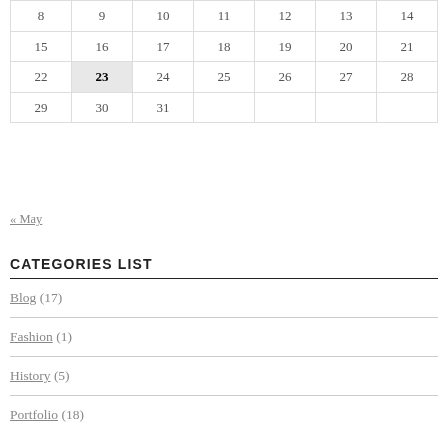| 8 | 9 | 10 | 11 | 12 | 13 | 14 |
| 15 | 16 | 17 | 18 | 19 | 20 | 21 |
| 22 | 23 | 24 | 25 | 26 | 27 | 28 |
| 29 | 30 | 31 |  |  |  |  |
« May
CATEGORIES LIST
Blog (17)
Fashion (1)
History (5)
Portfolio (18)